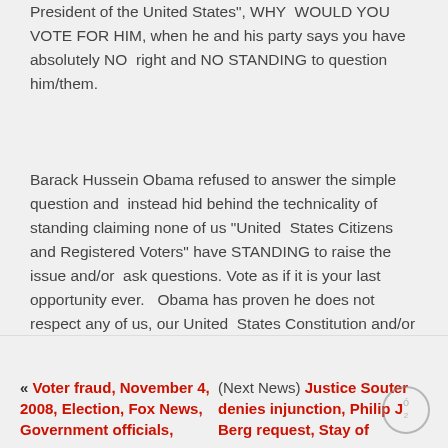President of the United States", WHY WOULD YOU VOTE FOR HIM, when he and his party says you have absolutely NO right and NO STANDING to question him/them.
Barack Hussein Obama refused to answer the simple question and instead hid behind the technicality of standing claiming none of us “United States Citizens and Registered Voters” have STANDING to raise the issue and/or ask questions. Vote as if it is your last opportunity ever. Obama has proven he does not respect any of us, our United States Constitution and/or Laws of our Country.”
Help Philip J Berg uphold the Constitution:
http://obamacrimes.com
« Voter fraud, November 4, 2008, Election, Fox News, Government officials,
(Next News) Justice Souter denies injunction, Philip J Berg request, Stay of